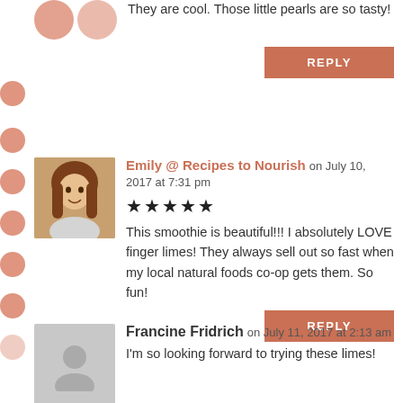They are cool. Those little pearls are so tasty!
REPLY
Emily @ Recipes to Nourish on July 10, 2017 at 7:31 pm
★★★★★
This smoothie is beautiful!!! I absolutely LOVE finger limes! They always sell out so fast when my local natural foods co-op gets them. So fun!
REPLY
Francine Fridrich on July 11, 2017 at 2:13 am
I'm so looking forward to trying these limes!